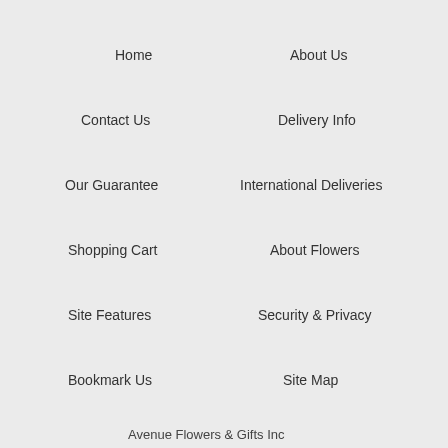Home
About Us
Contact Us
Delivery Info
Our Guarantee
International Deliveries
Shopping Cart
About Flowers
Site Features
Security & Privacy
Bookmark Us
Site Map
Avenue Flowers & Gifts Inc